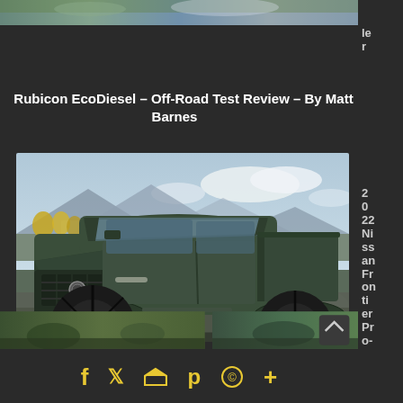[Figure (photo): Top banner image of outdoor landscape, partially cropped]
le
r
Rubicon EcoDiesel – Off-Road Test Review – By Matt Barnes
[Figure (photo): 2022 Nissan Frontier Pro-4X truck photographed outdoors on rocky terrain with mountain background]
2
0
22
Ni
ss
an
Fr
on
ti
er
Pr
o-
4x Review + Off-Road Videos
[Figure (photo): Bottom strip showing two outdoor/vehicle images side by side]
2
Social sharing icons: Facebook, Twitter, Home/Email, Pinterest, WhatsApp, Plus